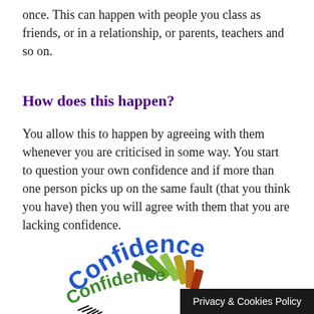once. This can happen with people you class as friends, or in a relationship, or parents, teachers and so on.
How does this happen?
You allow this to happen by agreeing with them whenever you are criticised in some way. You start to question your own confidence and if more than one person picks up on the same fault (that you think you have) then you will agree with them that you are lacking confidence.
[Figure (logo): Confidence logo with colorful sunburst rays and curved text reading 'Confidence' in blue and green]
Privacy & Cookies Policy